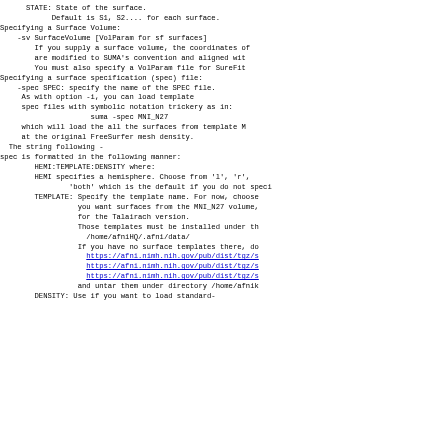STATE: State of the surface.
        Default is S1, S2.... for each surface.
Specifying a Surface Volume:
    -sv SurfaceVolume [VolParam for sf surfaces]
        If you supply a surface volume, the coordinates of
        are modified to SUMA's convention and aligned wit
        You must also specify a VolParam file for SureFit
Specifying a surface specification (spec) file:
    -spec SPEC: specify the name of the SPEC file.
     As with option -i, you can load template
     spec files with symbolic notation trickery as in:
                     suma -spec MNI_N27
     which will load the all the surfaces from template M
     at the original FreeSurfer mesh density.
  The string following -
spec is formatted in the following manner:
        HEMI:TEMPLATE:DENSITY where:
        HEMI specifies a hemisphere. Choose from 'l', 'r',
                'both' which is the default if you do not speci
        TEMPLATE: Specify the template name. For now, choose
                  you want surfaces from the MNI_N27 volume,
                  for the Talairach version.
                  Those templates must be installed under th
                    /home/afniHQ/.afni/data/
                  If you have no surface templates there, do
                    https://afni.nimh.nih.gov/pub/dist/tgz/s
                    https://afni.nimh.nih.gov/pub/dist/tgz/s
                    https://afni.nimh.nih.gov/pub/dist/tgz/s
                  and untar them under directory /home/afnik
        DENSITY: Use if you want to load standard-